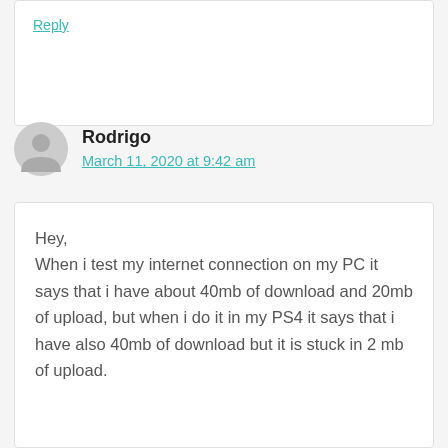Reply
Rodrigo
March 11, 2020 at 9:42 am
Hey,
When i test my internet connection on my PC it says that i have about 40mb of download and 20mb of upload, but when i do it in my PS4 it says that i have also 40mb of download but it is stuck in 2 mb of upload.